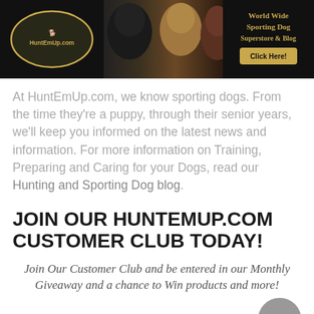[Figure (illustration): HuntEmUp.com banner with logo on left, three dogs (black lab, yellow lab, chocolate lab) in center, and 'World Wide Sporting Dog Superstore & Blog Click Here!' text with button on right]
At HuntEmUp.com, we know sporting dogs. From the time they're a puppy, through their senior years, we'll keep you informed on the latest news and information. For more information on Training, Preparing and Caring for your Dogs, read our Hunting and Sporting Dog blog.
JOIN OUR HUNTEMUP.COM CUSTOMER CLUB TODAY!
Join Our Customer Club and be entered in our Monthly Giveaway and a chance to Win products and more!
Join for FREE Today – Click Below to Get Started!